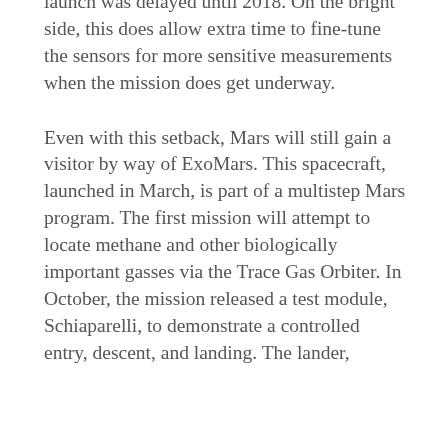patch for this would take too much time, so launch was delayed until 2018.  On the bright side, this does allow extra time to fine-tune the sensors for more sensitive measurements when the mission does get underway.
Even with this setback, Mars will still gain a visitor by way of ExoMars.  This spacecraft, launched in March, is part of a multistep Mars program.  The first mission will attempt to locate methane and other biologically important gasses via the Trace Gas Orbiter.  In October, the mission released a test module, Schiaparelli, to demonstrate a controlled entry, descent, and landing.  The lander,